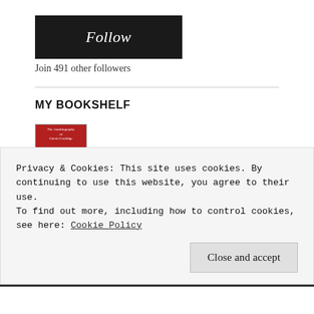Follow
Join 491 other followers
MY BOOKSHELF
[Figure (illustration): Red book cover for 'The Autobiography of Calvin Coolidge' with silhouetted figures]
★★★★★
Privacy & Cookies: This site uses cookies. By continuing to use this website, you agree to their use.
To find out more, including how to control cookies, see here: Cookie Policy
Close and accept